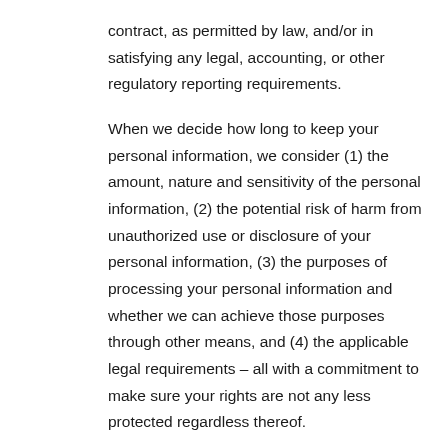contract, as permitted by law, and/or in satisfying any legal, accounting, or other regulatory reporting requirements.
When we decide how long to keep your personal information, we consider (1) the amount, nature and sensitivity of the personal information, (2) the potential risk of harm from unauthorized use or disclosure of your personal information, (3) the purposes of processing your personal information and whether we can achieve those purposes through other means, and (4) the applicable legal requirements – all with a commitment to make sure your rights are not any less protected regardless thereof.